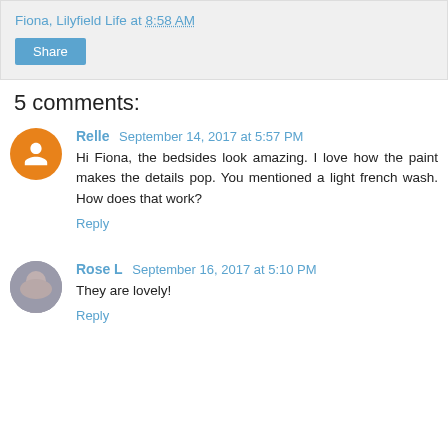Fiona, Lilyfield Life at 8:58 AM
Share
5 comments:
Relle  September 14, 2017 at 5:57 PM
Hi Fiona, the bedsides look amazing. I love how the paint makes the details pop. You mentioned a light french wash. How does that work?
Reply
Rose L  September 16, 2017 at 5:10 PM
They are lovely!
Reply